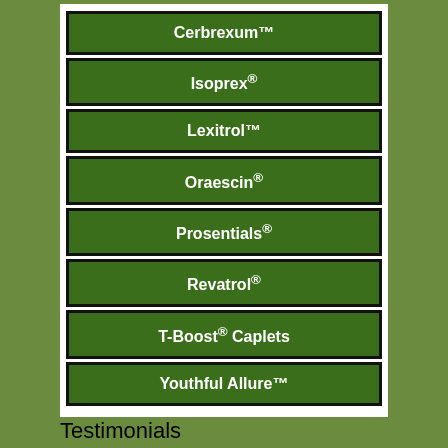Cerbrexum™
Isoprex®
Lexitrol™
Oraescin®
Prosentials®
Revatrol®
T-Boost® Caplets
Youthful Allure™
Testimonials